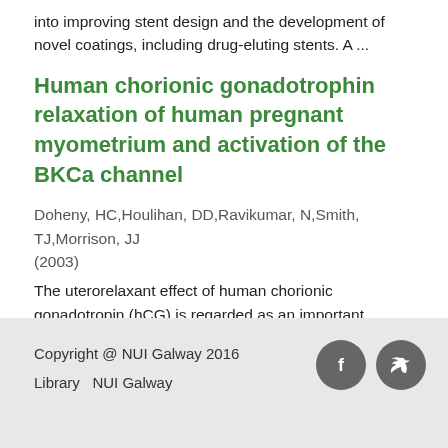into improving stent design and the development of novel coatings, including drug-eluting stents. A ...
Human chorionic gonadotrophin relaxation of human pregnant myometrium and activation of the BKCa channel
Doheny, HC,Houlihan, DD,Ravikumar, N,Smith, TJ,Morrison, JJ (2003)
The uterorelaxant effect of human chorionic gonadotropin (hCG) is regarded as an important mediator in maintenance of uterine quiescence during pregnancy with clinical potential for tocolysis, the mechanisms of which are ...
[Figure (other): Navigation buttons: left arrow and right arrow in bordered boxes]
Copyright @ NUI Galway 2016
Library   NUI Galway